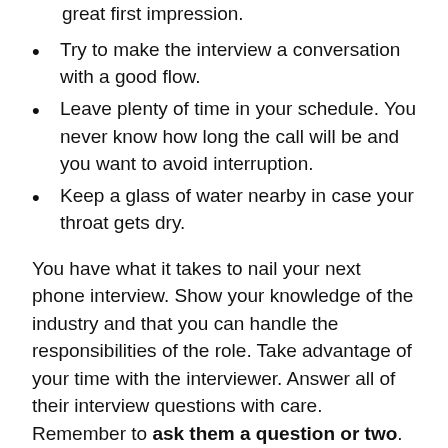great first impression.
Try to make the interview a conversation with a good flow.
Leave plenty of time in your schedule. You never know how long the call will be and you want to avoid interruption.
Keep a glass of water nearby in case your throat gets dry.
You have what it takes to nail your next phone interview. Show your knowledge of the industry and that you can handle the responsibilities of the role. Take advantage of your time with the interviewer. Answer all of their interview questions with care. Remember to ask them a question or two. By following these tips, you'll be well-prepared for your upcoming phone interview.